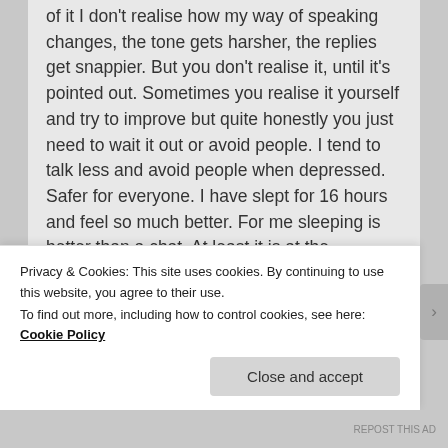of it I don't realise how my way of speaking changes, the tone gets harsher, the replies get snappier. But you don't realise it, until it's pointed out. Sometimes you realise it yourself and try to improve but quite honestly you just need to wait it out or avoid people. I tend to talk less and avoid people when depressed. Safer for everyone. I have slept for 16 hours and feel so much better. For me sleeping is better than a chat. At least it is at the moment.
★ Liked by 1 person
Privacy & Cookies: This site uses cookies. By continuing to use this website, you agree to their use. To find out more, including how to control cookies, see here: Cookie Policy